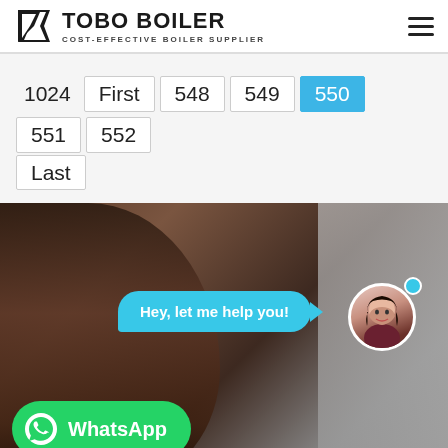TOBO BOILER — COST-EFFECTIVE BOILER SUPPLIER
1024  First  548  549  550  551  552  Last
[Figure (photo): Background photo of a woman with dark hair, overlaid with a chat bubble saying 'Hey, let me help you!' and an avatar photo of a female customer service agent, plus a WhatsApp button at the bottom left.]